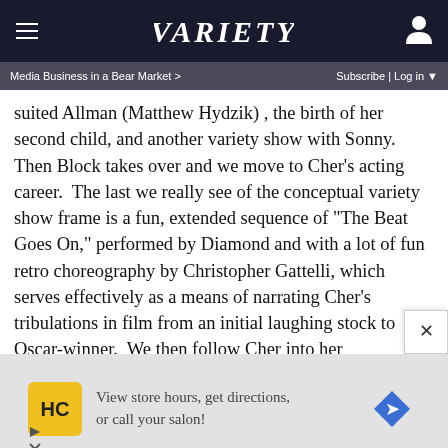VARIETY
Media Business in a Bear Market >    Subscribe | Log in
suited Allman (Matthew Hydzik) , the birth of her second child, and another variety show with Sonny.  Then Block takes over and we move to Cher’s acting career.  The last we really see of the conceptual variety show frame is a fun, extended sequence of “The Beat Goes On,” performed by Diamond and with a lot of fun retro choreography by Christopher Gattelli, which serves effectively as a means of narrating Cher’s tribulations in film from an initial laughing stock to Oscar-winner.  We then follow Cher into her relationship with the much younger Rob Camilletti (Michael Campayno), who can’t handle the taunts of the paparazzi.
[Figure (other): Advertisement banner: HC logo (yellow square), text 'View store hours, get directions, or call your salon!', blue diamond navigation icon]